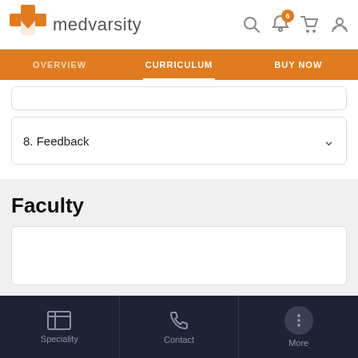[Figure (logo): Medvarsity logo with orange cross/M icon and text 'medvarsity']
OVERVIEW | CURRICULUM | BUY NOW
8. Feedback
Faculty
Available Payment Options
[Figure (screenshot): Bottom navigation bar with Speciality, Contact, and More icons]